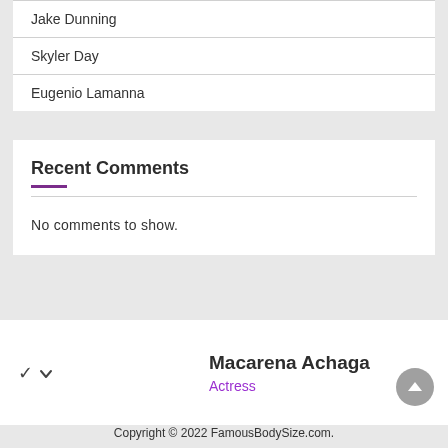Jake Dunning
Skyler Day
Eugenio Lamanna
Recent Comments
No comments to show.
Macarena Achaga
Actress
Copyright © 2022 FamousBodySize.com.